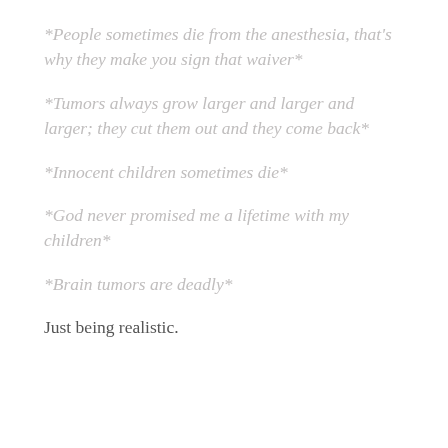*People sometimes die from the anesthesia, that's why they make you sign that waiver*
*Tumors always grow larger and larger and larger; they cut them out and they come back*
*Innocent children sometimes die*
*God never promised me a lifetime with my children*
*Brain tumors are deadly*
Just being realistic.